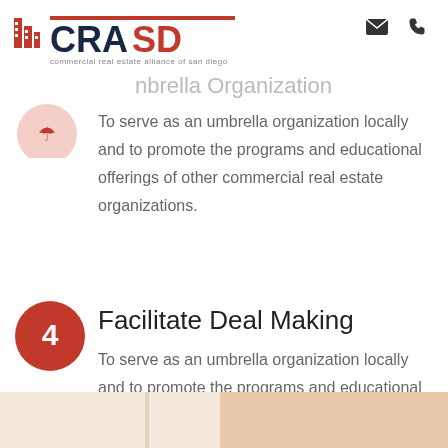[Figure (logo): CRASD - Commercial Real Estate Alliance of San Diego logo with building icon]
Umbrella Organization
To serve as an umbrella organization locally and to promote the programs and educational offerings of other commercial real estate organizations.
Facilitate Deal Making
To serve as an umbrella organization locally and to promote the programs and educational offerings of other commercial real estate organizations.
[Figure (photo): Partial bottom image strip showing warm-toned background]